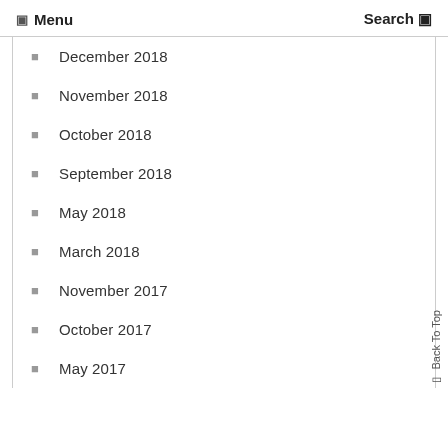Menu  Search
December 2018
November 2018
October 2018
September 2018
May 2018
March 2018
November 2017
October 2017
May 2017